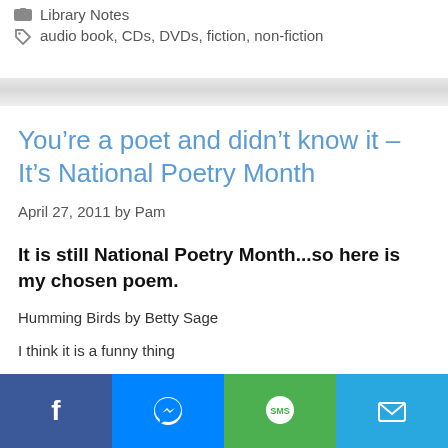Library Notes
audio book, CDs, DVDs, fiction, non-fiction
You're a poet and didn't know it – It's National Poetry Month
April 27, 2011 by Pam
It is still National Poetry Month...so here is my chosen poem.
Humming Birds by Betty Sage
I think it is a funny thing